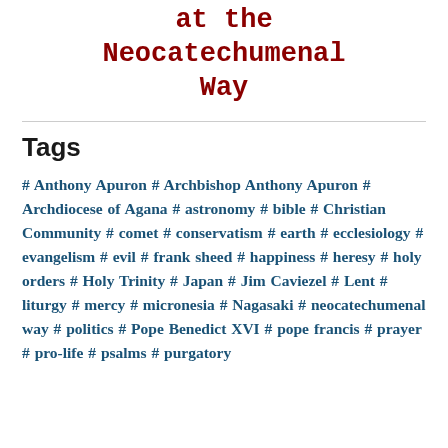at the Neocatechumenal Way
Tags
# Anthony Apuron # Archbishop Anthony Apuron # Archdiocese of Agana # astronomy # bible # Christian Community # comet # conservatism # earth # ecclesiology # evangelism # evil # frank sheed # happiness # heresy # holy orders # Holy Trinity # Japan # Jim Caviezel # Lent # liturgy # mercy # micronesia # Nagasaki # neocatechumenal way # politics # Pope Benedict XVI # pope francis # prayer # pro-life # psalms # purgatory